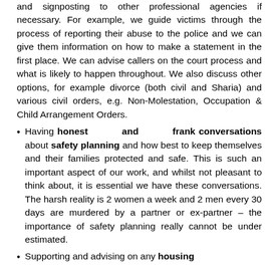and signposting to other professional agencies if necessary. For example, we guide victims through the process of reporting their abuse to the police and we can give them information on how to make a statement in the first place. We can advise callers on the court process and what is likely to happen throughout. We also discuss other options, for example divorce (both civil and Sharia) and various civil orders, e.g. Non-Molestation, Occupation & Child Arrangement Orders.
Having honest and frank conversations about safety planning and how best to keep themselves and their families protected and safe. This is such an important aspect of our work, and whilst not pleasant to think about, it is essential we have these conversations. The harsh reality is 2 women a week and 2 men every 30 days are murdered by a partner or ex-partner – the importance of safety planning really cannot be under estimated.
Supporting and advising on any housing issues, maintenance, and care provisions.